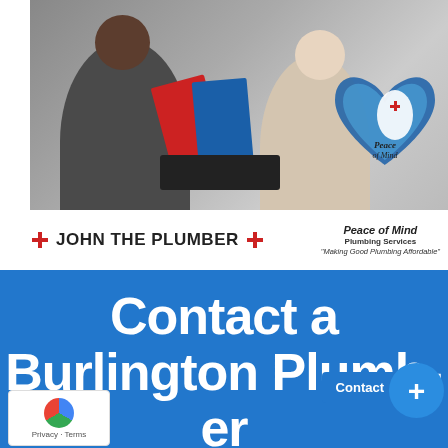[Figure (photo): Two people (a man and a woman) sitting at a table reviewing plumbing brochures and a tablet together]
[Figure (logo): John The Plumber logo with red cross icons and bold text, and Peace of Mind Plumbing Services heart logo with tagline 'Making Good Plumbing Affordable']
Contact a Burlington Plumber Near You!
Contact
Privacy - Terms